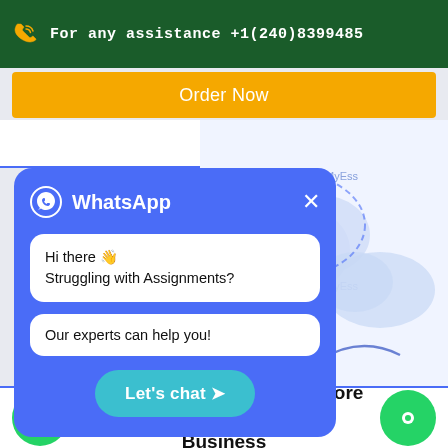For any assistance +1(240)8399485
Order Now
[Figure (screenshot): WhatsApp chat popup with blue background showing 'Hi there 👋 Struggling with Assignments?' and 'Our experts can help you!' messages, with a 'Let's chat ➤' button]
[Figure (illustration): BookMyEssay watermark cloud illustration on right side background]
nsider These Questions before S a Business